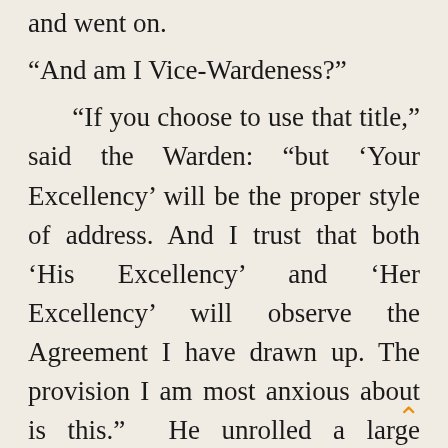and went on.
“And am I Vice-Wardeness?”
“If you choose to use that title,” said the Warden: “but ‘Your Excellency’ will be the proper style of address. And I trust that both ‘His Excellency’ and ‘Her Excellency’ will observe the Agreement I have drawn up. The provision I am most anxious about is this.” He unrolled a large parchment scroll, and read aloud the words
“(it was the t— will be binding to the—” The